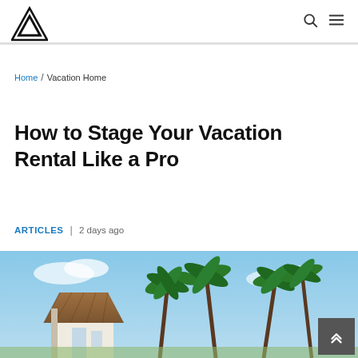Navigation bar with logo, search icon, and menu icon
Home / Vacation Home
How to Stage Your Vacation Rental Like a Pro
ARTICLES  |  2 days ago
[Figure (photo): Tropical vacation rental with thatched-roof bungalow and palm trees against a blue sky]